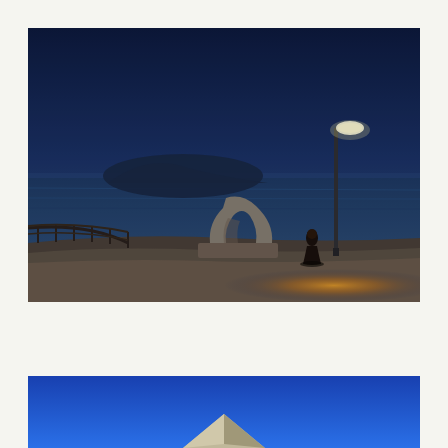[Figure (photo): Nighttime waterfront scene at Sunport Takamatsu. A large abstract stone sculpture sits on a curved promenade by the sea. A lone figure in dark clothing stands illuminated by warm golden light from a tall street lamp. An island silhouette and calm water are visible in the background under a deep blue dusk sky.]
□□□□□□□ □MATAKITENO□
"MATAKITENO" Sunport Takamatsu
[Figure (photo): Partial view of a bright blue background with the top of a stone or concrete pyramidal/angular sculpture visible at the bottom, suggesting another artwork installation.]